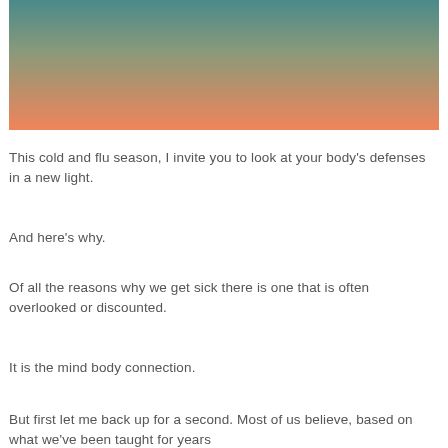[Figure (illustration): Gradient background image transitioning from teal/green at top to warm orange/salmon at bottom]
This cold and flu season, I invite you to look at your body's defenses in a new light.
And here's why.
Of all the reasons why we get sick there is one that is often overlooked or discounted.
It is the mind body connection.
But first let me back up for a second. Most of us believe, based on what we've been taught for years